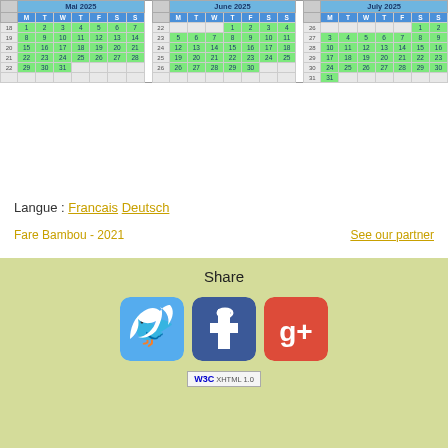|  | M | T | W | T | F | S | S |  | M | T | W | T | F | S | S |  | M | T | W | T | F | S | S |
| --- | --- | --- | --- | --- | --- | --- | --- | --- | --- | --- | --- | --- | --- | --- | --- | --- | --- | --- | --- | --- | --- | --- | --- |
| 18 | 1 | 2 | 3 | 4 | 5 | 6 | 7 | 22 |  |  |  | 1 | 2 | 3 | 4 | 26 |  |  |  |  |  | 1 | 2 |
| 19 | 8 | 9 | 10 | 11 | 12 | 13 | 14 | 23 | 5 | 6 | 7 | 8 | 9 | 10 | 11 | 27 | 3 | 4 | 5 | 6 | 7 | 8 | 9 |
| 20 | 15 | 16 | 17 | 18 | 19 | 20 | 21 | 24 | 12 | 13 | 14 | 15 | 16 | 17 | 18 | 28 | 10 | 11 | 12 | 13 | 14 | 15 | 16 |
| 21 | 22 | 23 | 24 | 25 | 26 | 27 | 28 | 25 | 19 | 20 | 21 | 22 | 23 | 24 | 25 | 29 | 17 | 18 | 19 | 20 | 21 | 22 | 23 |
| 22 | 29 | 30 | 31 |  |  |  |  | 26 | 26 | 27 | 28 | 29 | 30 |  |  | 30 | 24 | 25 | 26 | 27 | 28 | 29 | 30 |
|  |  |  |  |  |  |  |  |  |  |  |  |  |  |  |  | 31 | 31 |  |  |  |  |  |  |  |
Langue :  Francais  Deutsch
Fare Bambou - 2021
See our partner
Share
[Figure (logo): Twitter, Facebook, Google+ social share buttons and W3C XHTML 1.0 badge]